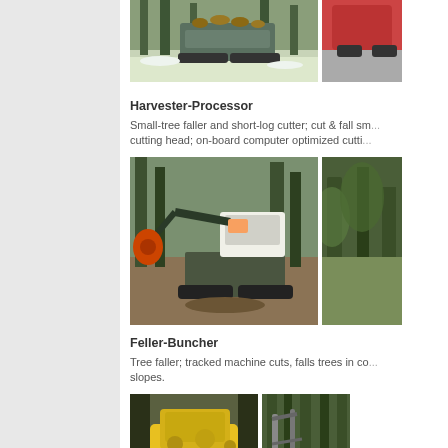[Figure (photo): Tracked log forwarder carrying logs in snowy forest setting]
[Figure (photo): Partially visible forestry machine at right edge]
Harvester-Processor
Small-tree faller and short-log cutter; cut & fall sm... cutting head; on-board computer optimized cutti...
[Figure (photo): Harvester-processor machine working in forest, tracked excavator base with large cutting arm]
[Figure (photo): Partially visible harvester in dense forest at right edge]
Feller-Buncher
Tree faller; tracked machine cuts, falls trees in co... slopes.
[Figure (photo): Interior cab view of feller-buncher with yellow controls]
[Figure (photo): Feller-buncher arm working among tall trees]